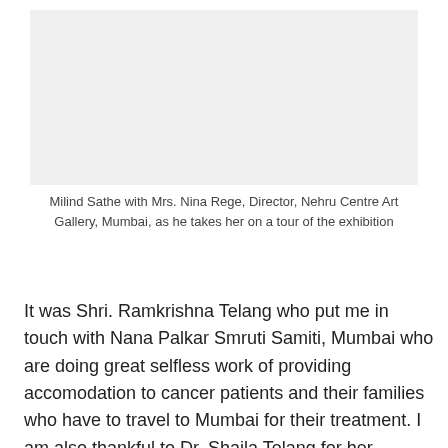[Figure (photo): Photo of Milind Sathe with Mrs. Nina Rege at an art exhibition]
Milind Sathe with Mrs. Nina Rege, Director, Nehru Centre Art Gallery, Mumbai, as he takes her on a tour of the exhibition
It was Shri. Ramkrishna Telang who put me in touch with Nana Palkar Smruti Samiti, Mumbai who are doing great selfless work of providing accomodation to cancer patients and their families who have to travel to Mumbai for their treatment. I am also thankful to Dr. Shaila Telang for her support.